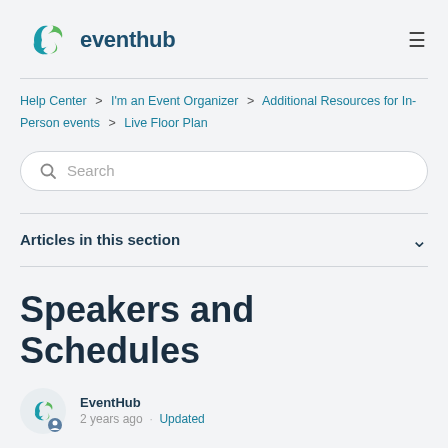eventhub
Help Center > I'm an Event Organizer > Additional Resources for In-Person events > Live Floor Plan
Search
Articles in this section
Speakers and Schedules
EventHub
2 years ago · Updated